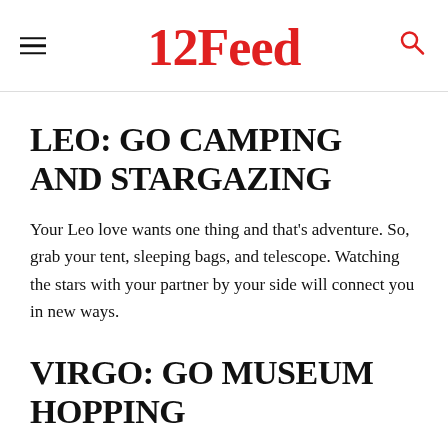12Feed
LEO: GO CAMPING AND STARGAZING
Your Leo love wants one thing and that's adventure. So, grab your tent, sleeping bags, and telescope. Watching the stars with your partner by your side will connect you in new ways.
VIRGO: GO MUSEUM HOPPING
Virgo loves order, so a detailed itinerary is a must-have. However, make sure they're learning something new in the process. This earth sign loves to be productive… even